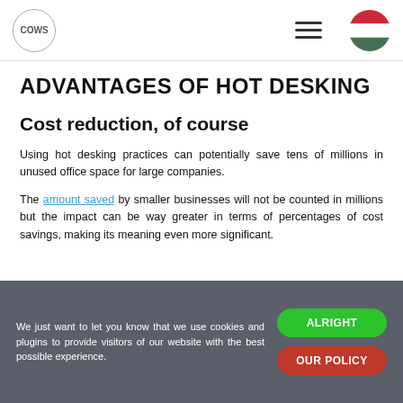COWS logo, hamburger menu, Hungarian flag
ADVANTAGES OF HOT DESKING
Cost reduction, of course
Using hot desking practices can potentially save tens of millions in unused office space for large companies.
The amount saved by smaller businesses will not be counted in millions but the impact can be way greater in terms of percentages of cost savings, making its meaning even more significant.
We just want to let you know that we use cookies and plugins to provide visitors of our website with the best possible experience. ALRIGHT OUR POLICY